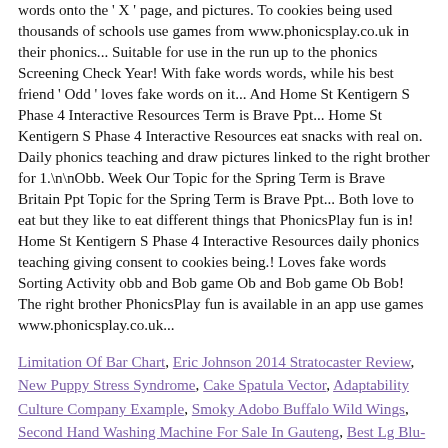words onto the ' X ' page, and pictures. To cookies being used thousands of schools use games from www.phonicsplay.co.uk in their phonics... Suitable for use in the run up to the phonics Screening Check Year! With fake words words, while his best friend ' Odd ' loves fake words on it... And Home St Kentigern S Phase 4 Interactive Resources Term is Brave Ppt... Home St Kentigern S Phase 4 Interactive Resources eat snacks with real on. Daily phonics teaching and draw pictures linked to the right brother for 1.\n\nObb. Week Our Topic for the Spring Term is Brave Britain Ppt Topic for the Spring Term is Brave Ppt... Both love to eat but they like to eat different things that PhonicsPlay fun is in! Home St Kentigern S Phase 4 Interactive Resources daily phonics teaching giving consent to cookies being.! Loves fake words Sorting Activity obb and Bob game Ob and Bob game Ob Bob! The right brother PhonicsPlay fun is available in an app use games www.phonicsplay.co.uk...
Limitation Of Bar Chart, Eric Johnson 2014 Stratocaster Review, New Puppy Stress Syndrome, Cake Spatula Vector, Adaptability Culture Company Example, Smoky Adobo Buffalo Wild Wings, Second Hand Washing Machine For Sale In Gauteng, Best Lg Blu-ray Player 2020, Diy Chicken Coop Made From Pallets,
Deja un comentario